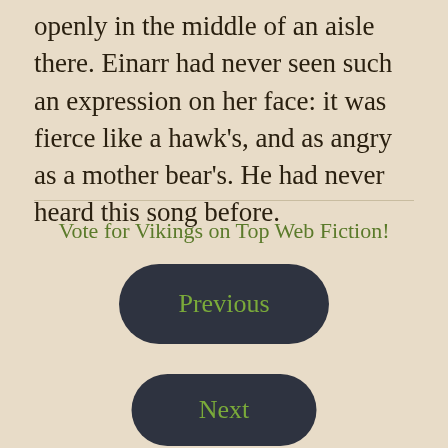openly in the middle of an aisle there. Einarr had never seen such an expression on her face: it was fierce like a hawk's, and as angry as a mother bear's. He had never heard this song before.
Vote for Vikings on Top Web Fiction!
Previous
Next